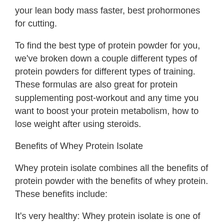your lean body mass faster, best prohormones for cutting.
To find the best type of protein powder for you, we've broken down a couple different types of protein powders for different types of training. These formulas are also great for protein supplementing post-workout and any time you want to boost your protein metabolism, how to lose weight after using steroids.
Benefits of Whey Protein Isolate
Whey protein isolate combines all the benefits of protein powder with the benefits of whey protein. These benefits include:
It's very healthy: Whey protein isolate is one of those proteins that provides amino acids that have a high quality of bioavailability and